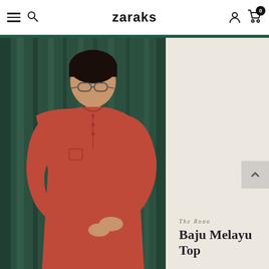zaraks
[Figure (photo): A young man wearing glasses and a red/coral long-sleeve Baju Melayu top, standing against a dark green velvet curtain backdrop. He is adjusting his sleeve cuffs.]
The Rono
Baju Melayu Top